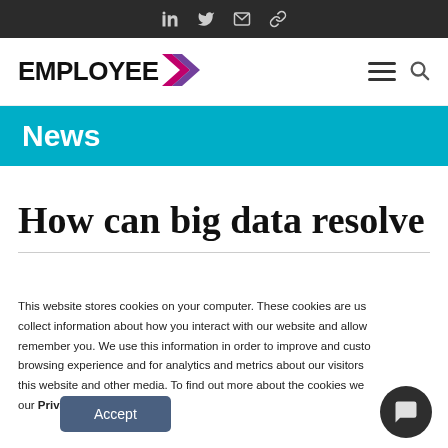Social share icons: LinkedIn, Twitter, Email, Link
[Figure (logo): EMPLOYEE > logo with purple/pink arrow chevron, plus hamburger menu and search icon]
News
How can big data resolve
This website stores cookies on your computer. These cookies are used to collect information about how you interact with our website and allow us to remember you. We use this information in order to improve and customize your browsing experience and for analytics and metrics about our visitors both on this website and other media. To find out more about the cookies we use, see our Privacy Policy
Accept